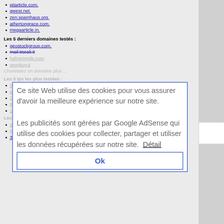pitarticle.com.
qwest.net.
zen.spamhaus.org.
athertongrace.com.
megaarticle.in.
Les 5 derniers domaines testés :
geostockgroup.com.
mail.tiscali.it
hahonmrpls.com
gesyboy.it
Ce site Web utilise des cookies pour vous assurer d'avoir la meilleure expérience sur notre site.
Les publicités sont gérées par Google AdSense qui utilise des cookies pour collecter, partager et utiliser les données récupérées sur notre site.  Détail
Ok
Les 5 ips les plus testées :
213.160.80.67
60.1.75.222
38.124.232.132